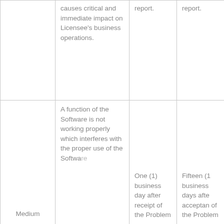|  | causes critical and immediate impact on Licensee's business operations. | report. | report. |
| Medium | A function of the Software is not working properly which interferes with the proper use of the Software | One (1) business day after receipt of the Problem | Fifteen (1 business days afte acceptan of the Problem |